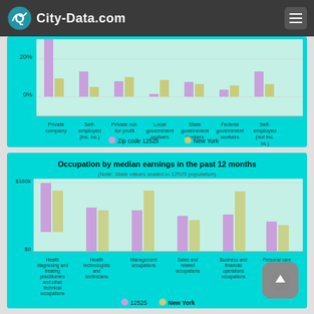City-Data.com
[Figure (grouped-bar-chart): Employment class (top partial)]
[Figure (grouped-bar-chart): (Note: State values scaled to 12525 population)]